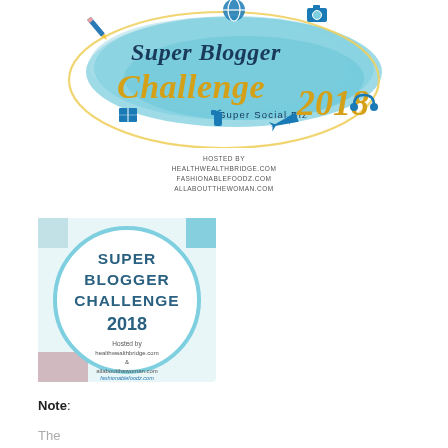[Figure (logo): Super Blogger Challenge 2018 Super Social Biz logo with light blue watercolor splash, travel icons (plane, globe, book, pencil, camera), and decorative oval outline]
HOSTED BY
HEALTHWEALTHBRIDGE.COM
FASHIONABLEFOODZ.COM
ALLABOUTTHEWOMAN.COM
[Figure (logo): Super Blogger Challenge 2018 square badge with teal and white circle design, hosted by healthwealthbridge.com & allaboutthewoman.com fashionablefoodz.com]
Note:
The